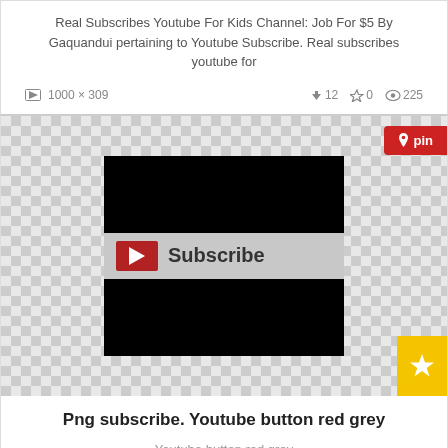Real Subscribes Youtube For Kids Channel: Job For $5 By Gaquandui pertaining to Youtube Subscribe. Real subscribes youtube for
1000 x 309   ⬇12  ☆0  👁225
[Figure (screenshot): YouTube Subscribe button image on checkered background with pin button]
Png subscribe. Youtube button red grey
Youtube button red grey
400 x 400   ⬇1  ☆0  👁194
[Figure (screenshot): Partial image showing teal/red subscribe button on checkered background with pin button]